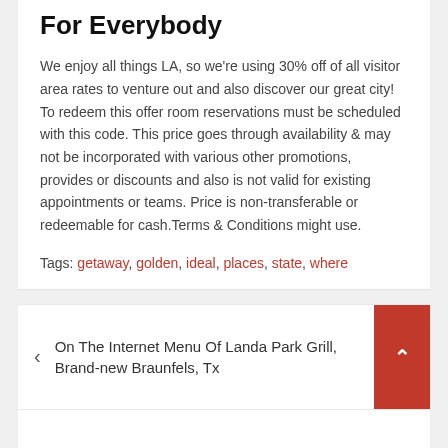For Everybody
We enjoy all things LA, so we're using 30% off of all visitor area rates to venture out and also discover our great city! To redeem this offer room reservations must be scheduled with this code. This price goes through availability & may not be incorporated with various other promotions, provides or discounts and also is not valid for existing appointments or teams. Price is non-transferable or redeemable for cash.Terms & Conditions might use.
Tags: getaway, golden, ideal, places, state, where
On The Internet Menu Of Landa Park Grill, Brand-new Braunfels, Tx
15 Ideal Things To Do In Ventura